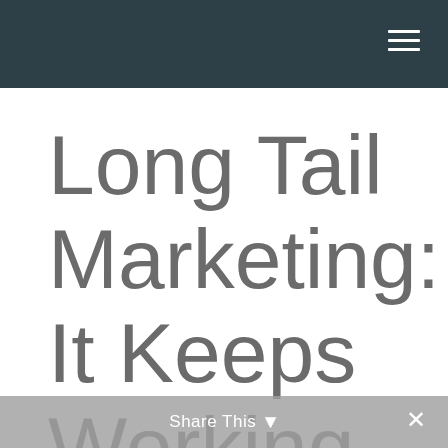Long Tail Marketing: It Keeps Working